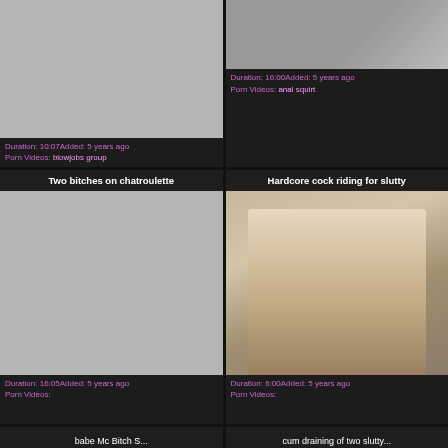[Figure (screenshot): Video thumbnail placeholder (gray) for blowjobs group]
Duration: 10:07Added: 5 years ago
Porn Videos: blowjobs group
[Figure (screenshot): Video thumbnail for anal squirt]
Duration: 16:00Added: 5 years ago
Porn Videos: anal squirt
Two bitches on chatroulette
Hardcore cock riding for slutty
[Figure (screenshot): Video thumbnail placeholder (gray) for Two bitches on chatroulette]
Duration: 16:05Added: 5 years ago
Porn Videos:
[Figure (photo): Video thumbnail showing a man and woman embracing]
Duration: 6:00Added: 5 years ago
Porn Videos:
babe Mc Bitch S...
cum draining of two slutty...